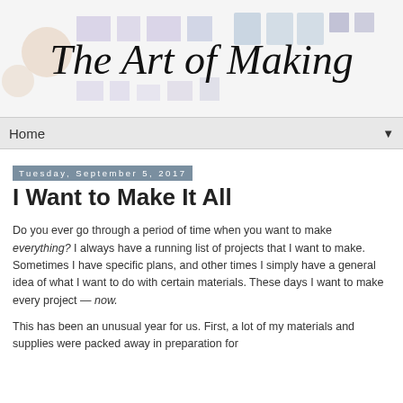[Figure (illustration): Blog header banner for 'The Art of Making' with decorative geometric shapes in lavender and tan on white background, with cursive script logo text reading 'The Art of Making']
Home ▼
Tuesday, September 5, 2017
I Want to Make It All
Do you ever go through a period of time when you want to make everything? I always have a running list of projects that I want to make. Sometimes I have specific plans, and other times I simply have a general idea of what I want to do with certain materials. These days I want to make every project — now.
This has been an unusual year for us. First, a lot of my materials and supplies were packed away in preparation for